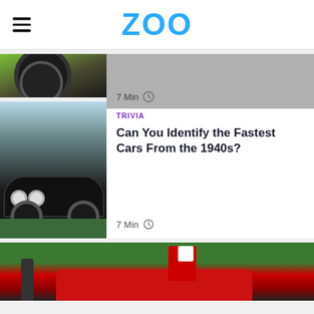ZOO
[Figure (photo): Partial view of a green sports car wheel and body, with a gray section to the right. 7 Min reading time shown.]
7 Min
[Figure (photo): Classic vintage black cars (Jaguar XK style) parked on grass with trees in background. Full card view.]
TRIVIA
Can You Identify the Fastest Cars From the 1940s?
7 Min
[Figure (photo): Partially visible red vintage convertible car with a person standing beside it and green trees in the background.]